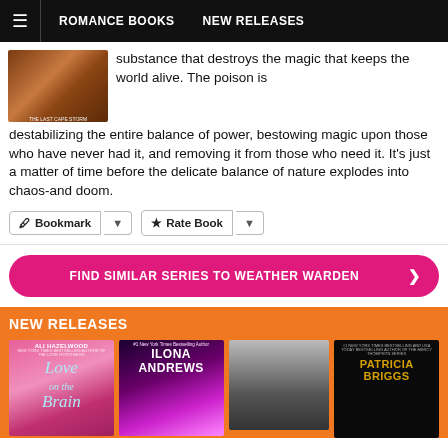≡  ROMANCE BOOKS   NEW RELEASES
substance that destroys the magic that keeps the world alive. The poison is destabilizing the entire balance of power, bestowing magic upon those who have never had it, and removing it from those who need it. It's just a matter of time before the delicate balance of nature explodes into chaos-and doom.
🔖 Bookmark  ▾   ☆ Rate Book  ▾
FIND SIMILAR SERIES TO WEATHER WARDEN  ❯
NEW RELEASES
[Figure (illustration): Four book covers in a row: Love on the Brain by Ali Hazelwood (pink), Ilona Andrews fantasy book (purple/magenta), a black-and-white man's face cover, and Patricia Briggs book (black/gold)]